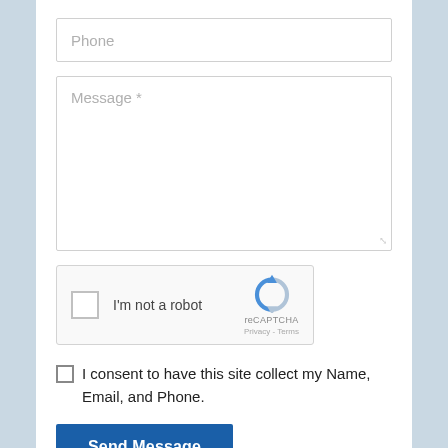Phone
Message *
[Figure (other): reCAPTCHA widget with checkbox labeled 'I'm not a robot', reCAPTCHA logo, Privacy and Terms links]
I consent to have this site collect my Name, Email, and Phone.
Send Message